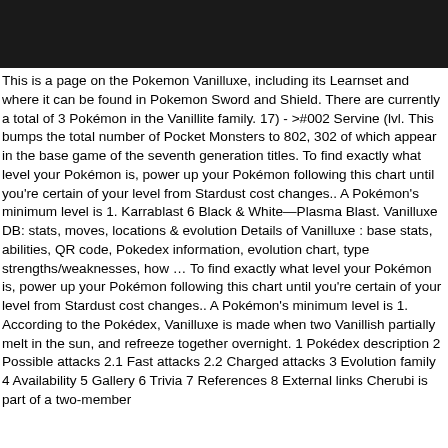[Figure (other): Black header bar at top of page]
This is a page on the Pokemon Vanilluxe, including its Learnset and where it can be found in Pokemon Sword and Shield. There are currently a total of 3 Pokémon in the Vanillite family. 17) - >#002 Servine (lvl. This bumps the total number of Pocket Monsters to 802, 302 of which appear in the base game of the seventh generation titles. To find exactly what level your Pokémon is, power up your Pokémon following this chart until you're certain of your level from Stardust cost changes.. A Pokémon's minimum level is 1. Karrablast 6 Black & White—Plasma Blast. Vanilluxe DB: stats, moves, locations & evolution Details of Vanilluxe : base stats, abilities, QR code, Pokedex information, evolution chart, type strengths/weaknesses, how … To find exactly what level your Pokémon is, power up your Pokémon following this chart until you're certain of your level from Stardust cost changes.. A Pokémon's minimum level is 1. According to the Pokédex, Vanilluxe is made when two Vanillish partially melt in the sun, and refreeze together overnight. 1 Pokédex description 2 Possible attacks 2.1 Fast attacks 2.2 Charged attacks 3 Evolution family 4 Availability 5 Gallery 6 Trivia 7 References 8 External links Cherubi is part of a two-member